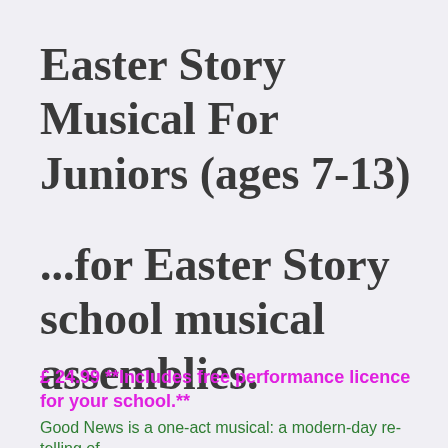Easter Story Musical For Juniors (ages 7-13)
...for Easter Story school musical assemblies.
£ 24.99  **Includes free performance licence for your school.**
Good News is a one-act musical: a modern-day re-telling of